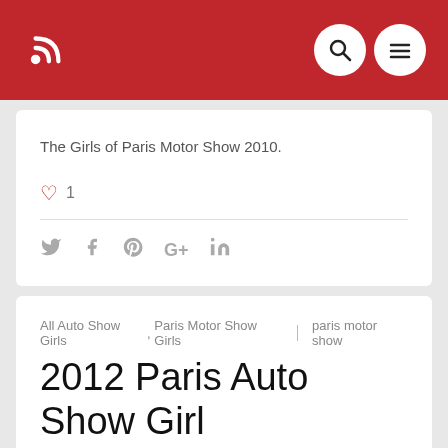Navigation bar with RSS icon, search and menu buttons
The Girls of Paris Motor Show 2010.
♡ 1
Social share icons: Twitter, Facebook, Pinterest, Google+, LinkedIn
All Auto Show Girls, Paris Motor Show Girls | paris motor show
2012 Paris Auto Show Girl
ADMIN · October 21, 2013